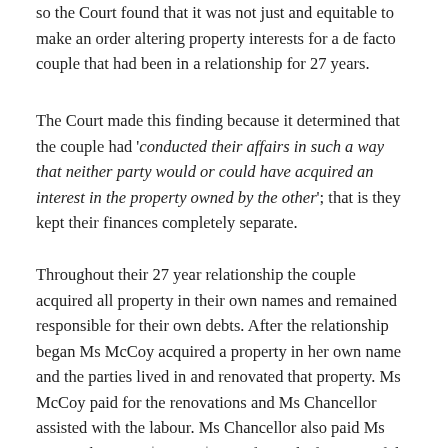so the Court found that it was not just and equitable to make an order altering property interests for a de facto couple that had been in a relationship for 27 years.
The Court made this finding because it determined that the couple had 'conducted their affairs in such a way that neither party would or could have acquired an interest in the property owned by the other'; that is they kept their finances completely separate.
Throughout their 27 year relationship the couple acquired all property in their own names and remained responsible for their own debts. After the relationship began Ms McCoy acquired a property in her own name and the parties lived in and renovated that property. Ms McCoy paid for the renovations and Ms Chancellor assisted with the labour. Ms Chancellor also paid Ms McCoy between $100 to $120 a fortnight for most of the relationship. In 2002, Ms